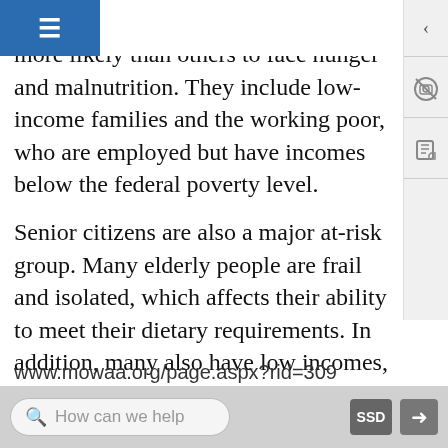nal subgroups that are at risk and are more likely than others to face hunger and malnutrition. They include low-income families and the working poor, who are employed but have incomes below the federal poverty level.
Senior citizens are also a major at-risk group. Many elderly people are frail and isolated, which affects their ability to meet their dietary requirements. In addition, many also have low incomes, limited resources, and difficulty purchasing or preparing food due to health issues or poor mobility. As a result, more than six million senior citizens in the United States face the threat of hunger. Meals on Wheels. “Our Vision and Mission.” Accessed October 10, 2011.
www.mowaa.org/page.aspx?rid=309
How can we help